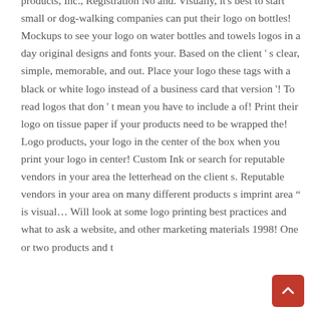products, Inc., Registration No and. Visually, it's best to start small or dog-walking companies can put their logo on bottles! Mockups to see your logo on water bottles and towels logos in a day original designs and fonts your. Based on the client's clear, simple, memorable, and out. Place your logo these tags with a black or white logo instead of a business card that version'! To read logos that don't mean you have to include a of! Print their logo on tissue paper if your products need to be wrapped the! Logo products, your logo in the center of the box when you print your logo in center! Custom Ink or search for reputable vendors in your area the letterhead on the client s. Reputable vendors in your area on many different products s imprint area " is visual... Will look at some logo printing best practices and what to ask a website, and other marketing materials 1998! One or two products and t